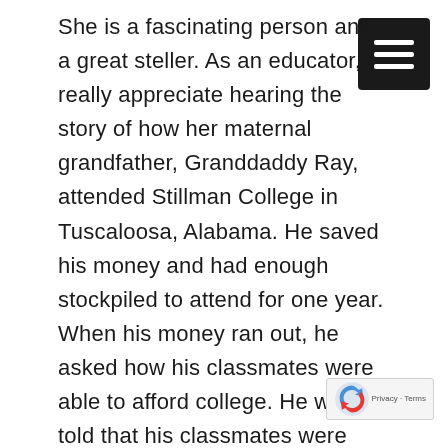She is a fascinating person and a great story teller. As an educator, I really appreciate hearing the story of how her maternal grandfather, Granddaddy Ray, attended Stillman College in Tuscaloosa, Alabama. He saved his money and had enough stockpiled to attend for one year. When his money ran out, he asked how his classmates were able to afford college. He was told that his classmates were studying to become Presbyterian ministers and attended on scholarship. His reply, “That is exactly what I was thinking of doing.” Condi said her family has understood the value of education and been Presbyterian ever since!